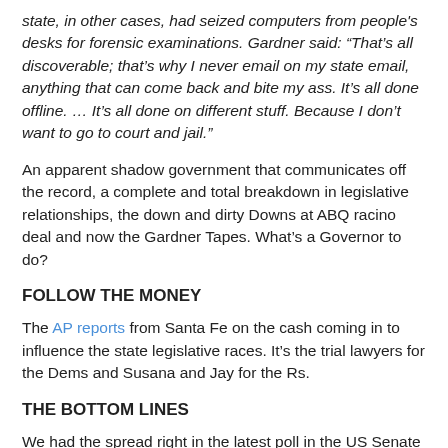state, in other cases, had seized computers from people's desks for forensic examinations. Gardner said: “That’s all discoverable; that’s why I never email on my state email, anything that can come back and bite my ass. It’s all done offline. … It’s all done on different stuff. Because I don’t want to go to court and jail.”
An apparent shadow government that communicates off the record, a complete and total breakdown in legislative relationships, the down and dirty Downs at ABQ racino deal and now the Gardner Tapes. What’s a Governor to do?
FOLLOW THE MONEY
The AP reports from Santa Fe on the cash coming in to influence the state legislative races. It’s the trial lawyers for the Dems and Susana and Jay for the Rs.
THE BOTTOM LINES
We had the spread right in the latest poll in the US Senate race in our first draft of the Monday blog. Seven points